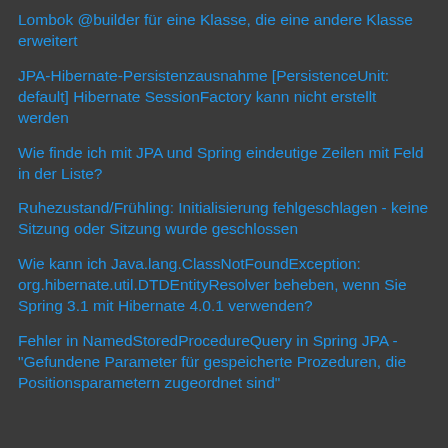Lombok @builder für eine Klasse, die eine andere Klasse erweitert
JPA-Hibernate-Persistenzausnahme [PersistenceUnit: default] Hibernate SessionFactory kann nicht erstellt werden
Wie finde ich mit JPA und Spring eindeutige Zeilen mit Feld in der Liste?
Ruhezustand/Frühling: Initialisierung fehlgeschlagen - keine Sitzung oder Sitzung wurde geschlossen
Wie kann ich Java.lang.ClassNotFoundException: org.hibernate.util.DTDEntityResolver beheben, wenn Sie Spring 3.1 mit Hibernate 4.0.1 verwenden?
Fehler in NamedStoredProcedureQuery in Spring JPA - "Gefundene Parameter für gespeicherte Prozeduren, die Positionsparametern zugeordnet sind"